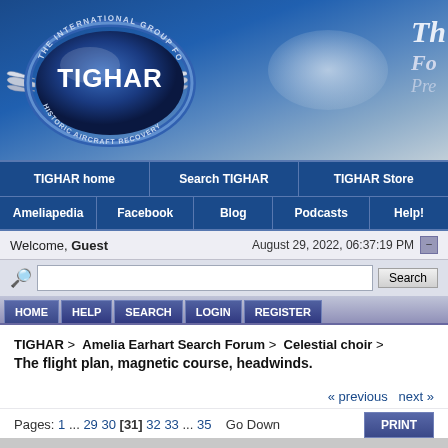[Figure (screenshot): TIGHAR forum website header with logo showing The International Group for Historic Aircraft Recovery, navigation bar with links: TIGHAR home, Search TIGHAR, TIGHAR Store, Ameliapedia, Facebook, Blog, Podcasts, Help!]
Welcome, Guest    August 29, 2022, 06:37:19 PM
HOME  HELP  SEARCH  LOGIN  REGISTER
TIGHAR > Amelia Earhart Search Forum > Celestial choir > The flight plan, magnetic course, headwinds.
« previous next »
Pages: 1 ... 29 30 [31] 32 33 ... 35   Go Down